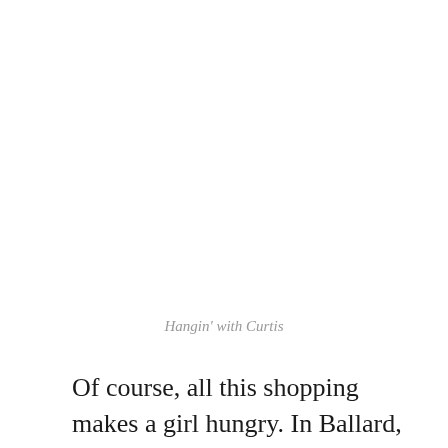Hangin' with Curtis
Of course, all this shopping makes a girl hungry. In Ballard, stop by La Carta de Oaxaca for some amazing Mexican food. Yum! Or if downtown, make your way to the Purple Cafe &